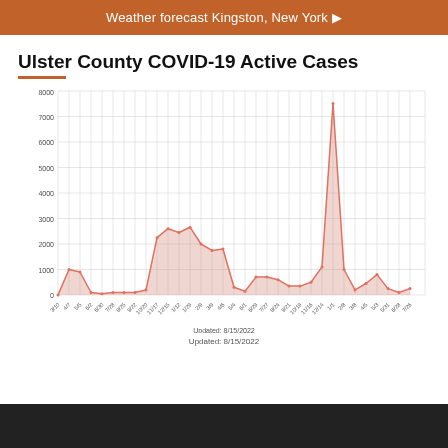Weather forecast Kingston, New York ▶
Ulster County COVID-19 Active Cases
[Figure (area-chart): Area chart showing Ulster County COVID-19 active cases from March 2020 to July 2022, with a massive peak around January 2022 (~7500 cases) and smaller waves in Spring 2021 (~2600) and Fall 2020 (~1000).]
Updated: 8/15/2022